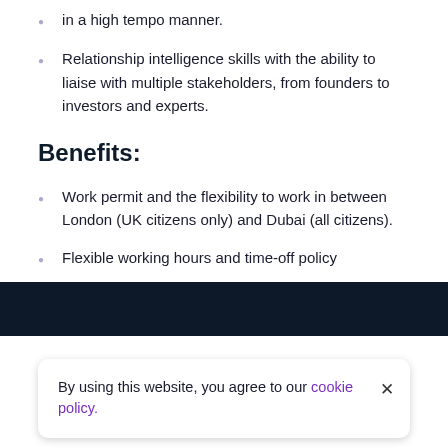in a high tempo manner.
Relationship intelligence skills with the ability to liaise with multiple stakeholders, from founders to investors and experts.
Benefits:
Work permit and the flexibility to work in between London (UK citizens only) and Dubai (all citizens).
Flexible working hours and time-off policy
By using this website, you agree to our cookie policy.